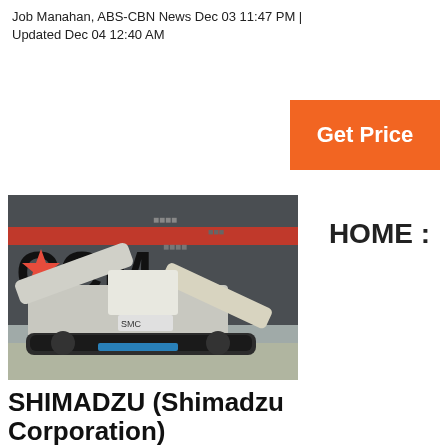Job Manahan, ABS-CBN News Dec 03 11:47 PM | Updated Dec 04 12:40 AM
[Figure (other): Orange 'Get Price' button]
HOME :
[Figure (photo): A CCM heavy industrial machine (crawler mobile crusher/screener) parked in front of a large industrial building with CCM logo and Chinese characters on the facade.]
SHIMADZU (Shimadzu Corporation)
The Xslicer SMX-1010/1020 is a vertical emission X-ray system equipped with 90 kV microfocus X-ray generator and a high-